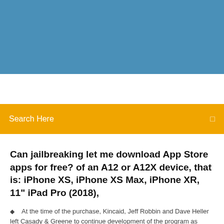[Figure (photo): Blue sky header banner background image]
Search Here
Can jailbreaking let me download App Store apps for free? of an A12 or A12X device, that is: iPhone XS, iPhone XS Max, iPhone XR, 11" iPad Pro (2018),
At the time of the purchase, Kincaid, Jeff Robbin and Dave Heller left Casady & Greene to continue development of the program as Apple employees.    |
4 Comments
Nejnovější tweety od uživatele Zee Wallpapers